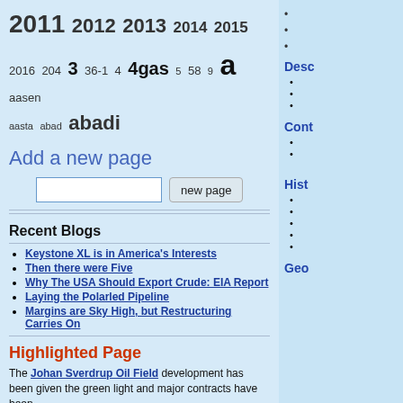2011 2012 2013 2014 2015 2016 204 3 36-1 4 4gas 5 58 9 a aasen aasta abad abadi
Add a new page
[text input] new page
Recent Blogs
Keystone XL is in America's Interests
Then there were Five
Why The USA Should Export Crude: EIA Report
Laying the Polarled Pipeline
Margins are Sky High, but Restructuring Carries On
Highlighted Page
The Johan Sverdrup Oil Field development has been given the green light and major contracts have been
Desc
Cont
Hist
Geo